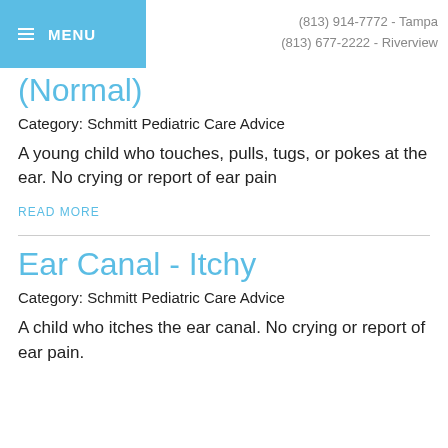MENU | (813) 914-7772 - Tampa | (813) 677-2222 - Riverview
(Normal)
Category: Schmitt Pediatric Care Advice
A young child who touches, pulls, tugs, or pokes at the ear. No crying or report of ear pain
READ MORE
Ear Canal - Itchy
Category: Schmitt Pediatric Care Advice
A child who itches the ear canal. No crying or report of ear pain.